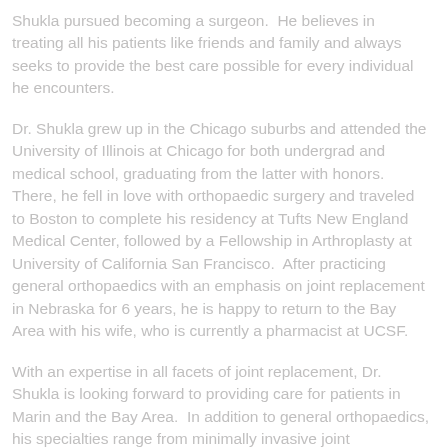Shukla pursued becoming a surgeon. He believes in treating all his patients like friends and family and always seeks to provide the best care possible for every individual he encounters.
Dr. Shukla grew up in the Chicago suburbs and attended the University of Illinois at Chicago for both undergrad and medical school, graduating from the latter with honors. There, he fell in love with orthopaedic surgery and traveled to Boston to complete his residency at Tufts New England Medical Center, followed by a Fellowship in Arthroplasty at University of California San Francisco. After practicing general orthopaedics with an emphasis on joint replacement in Nebraska for 6 years, he is happy to return to the Bay Area with his wife, who is currently a pharmacist at UCSF.
With an expertise in all facets of joint replacement, Dr. Shukla is looking forward to providing care for patients in Marin and the Bay Area. In addition to general orthopaedics, his specialties range from minimally invasive joint replacement to periprosthetic fractures to computer-navigated and custom joint replacements